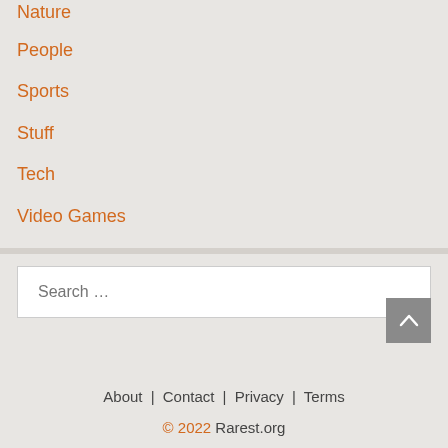Nature
People
Sports
Stuff
Tech
Video Games
Search …
About | Contact | Privacy | Terms
© 2022 Rarest.org